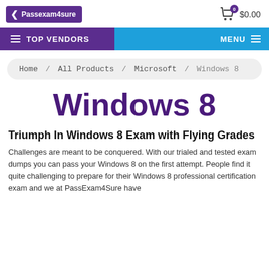[Figure (logo): Passexam4sure logo with purple background and white text]
$0.00
≡ TOP VENDORS    MENU ≡
Home / All Products / Microsoft / Windows 8
Windows 8
Triumph In Windows 8 Exam with Flying Grades
Challenges are meant to be conquered. With our trialed and tested exam dumps you can pass your Windows 8 on the first attempt. People find it quite challenging to prepare for their Windows 8 professional certification exam and we at PassExam4Sure have